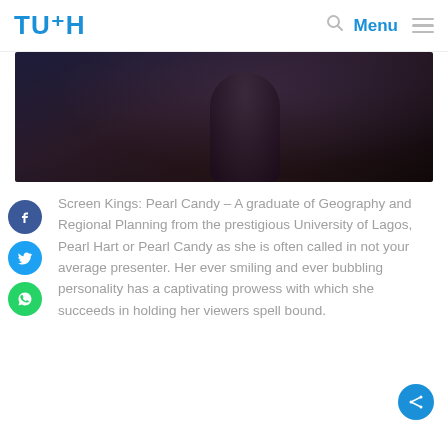TUSH | Menu
[Figure (photo): A woman in a sparkly dark dress photographed at dusk or night, outdoors]
Screen Kings: Pearl Candy – A graduate of Geography and Regional Planning from the prestigious University of Lagos, Pearl Hart or Pearl Candy as she is often called in not your average presenter. Her ever smiling and ever bubbling personality has a captivating prowess with which she succeeds in holding her viewers spell bound.